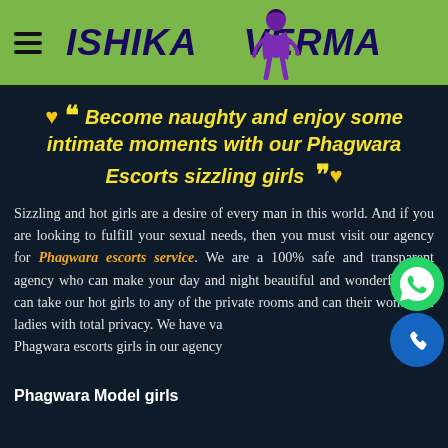ISHIKA VERMA
❤ ““ Become naughty and enjoy some intimate moments with our Phagwara Escorts sizzling girls ”” ❤
Sizzling and hot girls are a desire of every man in this world. And if you are looking to fulfill your sexual needs, then you must visit our agency for Phagwara escorts service. We are a 100% safe and transparent agency who can make your day and night beautiful and wonderful. You can take our hot girls to any of the private rooms and can their wonderful ladies with total privacy. We have various Phagwara escorts girls in our agency
Phagwara Model girls